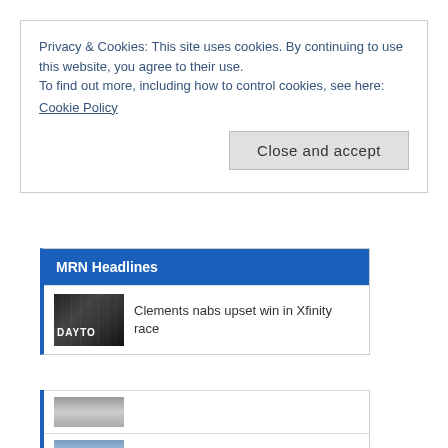Privacy & Cookies: This site uses cookies. By continuing to use this website, you agree to their use.
To find out more, including how to control cookies, see here:
Cookie Policy
Close and accept
MRN Headlines
Clements nabs upset win in Xfinity race
[Figure (photo): Thumbnail photo showing Daytona racetrack with DAYTONA text visible]
[Figure (photo): Thumbnail photo, grey/dark tones, partial view]
Daytona qualifying canceled by